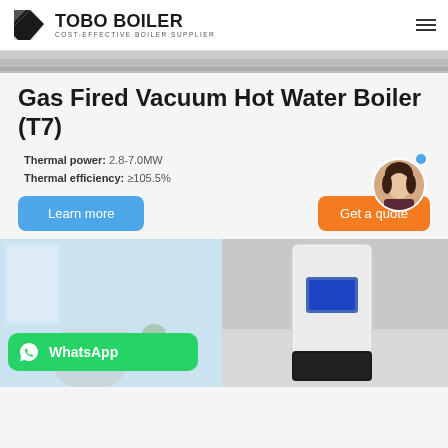[Figure (logo): TOBO BOILER logo with black geometric icon and text 'TOBO BOILER / COST-EFFECTIVE BOILER SUPPLIER']
[Figure (photo): Gray gradient banner image strip at top of page]
Gas Fired Vacuum Hot Water Boiler (T7)
Thermal power: 2.8-7.0MW
Thermal efficiency: ≥105.5%
[Figure (screenshot): Blue 'Learn more' button on the left]
[Figure (screenshot): Orange 'Get a quote' button on the right with customer avatar circle]
[Figure (photo): Bottom image showing bathroom/boiler room scene on left and wall-mounted boiler unit on right, with green WhatsApp badge overlay]